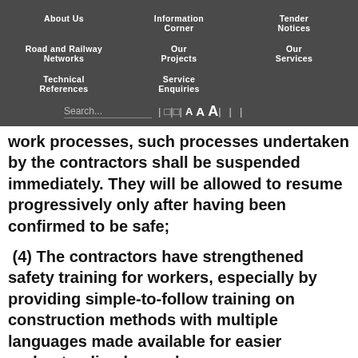About Us | Information Corner | Tender Notices | Road and Railway Networks | Our Projects | Our Services | Technical References | Service Enquiries
work processes, such processes undertaken by the contractors shall be suspended immediately. They will be allowed to resume progressively only after having been confirmed to be safe;
(4) The contractors have strengthened safety training for workers, especially by providing simple-to-follow training on construction methods with multiple languages made available for easier understanding by workers;
(5) Changing the mode of site inspection from